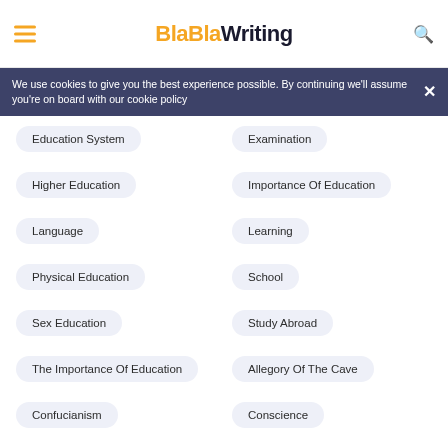BlaBlaWriting
We use cookies to give you the best experience possible. By continuing we'll assume you're on board with our cookie policy
Education System
Examination
Higher Education
Importance Of Education
Language
Learning
Physical Education
School
Sex Education
Study Abroad
The Importance Of Education
Allegory Of The Cave
Confucianism
Conscience
Daoism
Empiricism